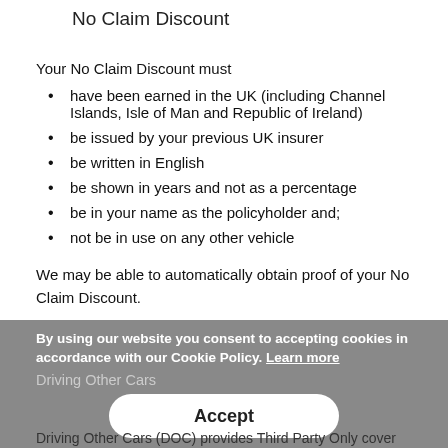No Claim Discount
Your No Claim Discount must
have been earned in the UK (including Channel Islands, Isle of Man and Republic of Ireland)
be issued by your previous UK insurer
be written in English
be shown in years and not as a percentage
be in your name as the policyholder and;
not be in use on any other vehicle
We may be able to automatically obtain proof of your No Claim Discount.
By using our website you consent to accepting cookies in accordance with our Cookie Policy. Learn more
Driving Other Cars
Accept
Driving Other Cars (DOC) provides Third Party Only cover